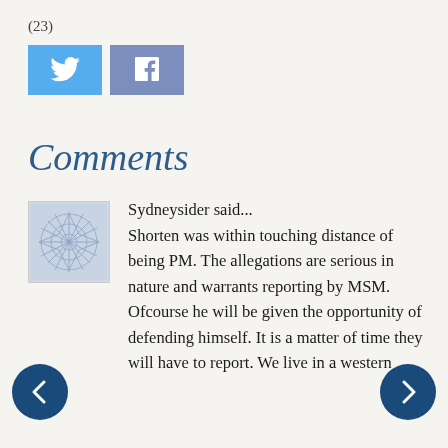(23)
[Figure (other): Twitter and Facebook social share buttons]
Comments
[Figure (illustration): User avatar — decorative geometric star pattern on blue-grey background]
Sydneysider said... Shorten was within touching distance of being PM. The allegations are serious in nature and warrants reporting by MSM. Ofcourse he will be given the opportunity of defending himself. It is a matter of time they will have to report. We live in a western